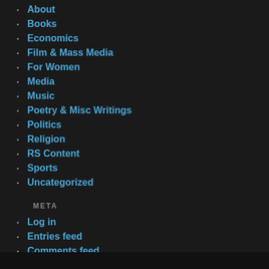About
Books
Economics
Film & Mass Media
For Women
Media
Music
Poetry & Misc Writings
Politics
Religion
RS Content
Sports
Uncategorized
META
Log in
Entries feed
Comments feed
WordPress.org